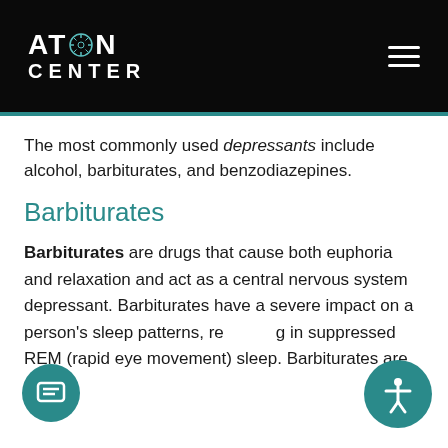AT•N CENTER
The most commonly used depressants include alcohol, barbiturates, and benzodiazepines.
Barbiturates
Barbiturates are drugs that cause both euphoria and relaxation and act as a central nervous system depressant. Barbiturates have a severe impact on a person's sleep patterns, resulting in suppressed REM (rapid eye movement) sleep. Barbiturates are effective anxiolytics, hypnotics, and anticonvulsants, but